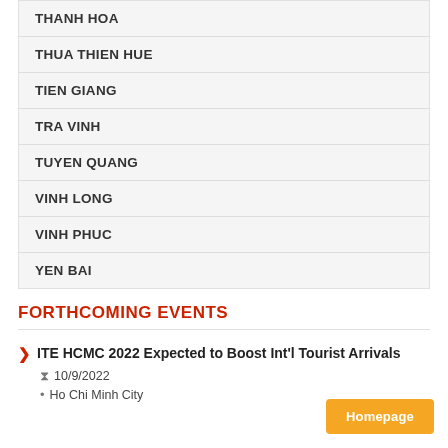THANH HOA
THUA THIEN HUE
TIEN GIANG
TRA VINH
TUYEN QUANG
VINH LONG
VINH PHUC
YEN BAI
FORTHCOMING EVENTS
ITE HCMC 2022 Expected to Boost Int'l Tourist Arrivals
10/9/2022
Ho Chi Minh City